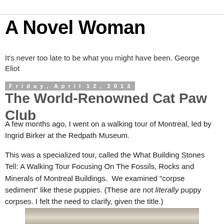A Novel Woman
It's never too late to be what you might have been. George Eliot
Friday, April 12, 2013
The World-Renowned Cat Paw Club
A few months ago, I went on a walking tour of Montreal, led by Ingrid Birker at the Redpath Museum.
This was a specialized tour, called the What Building Stones Tell: A Walking Tour Focusing On The Fossils, Rocks and Minerals of Montreal Buildings.  We examined "corpse sediment" like these puppies. (These are not literally puppy corpses. I felt the need to clarify, given the title.)
[Figure (photo): Photograph of rocky/fossil surface showing corpse sediment texture]